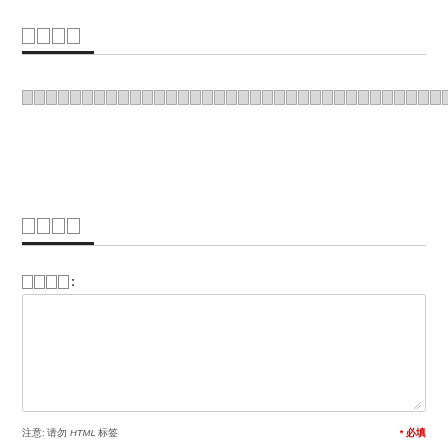□□□□
□□□□□□□□□□□□□□□□□□□□□□□□□□□□□□□□□□□□
□□□□
□□□□:
注意: 请勿 HTML 标签
* 必填